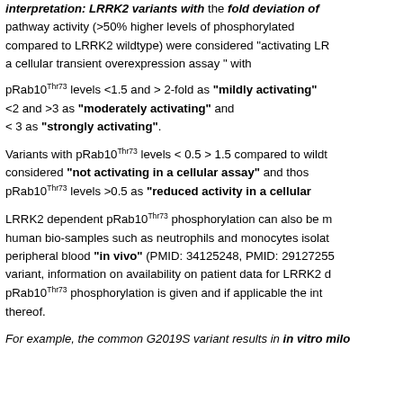interpretation: LRRK2 variants with >50% deviation of pathway activity (>50% higher levels of phosphorylated compared to LRRK2 wildtype) were considered "activating LR a cellular transient overexpression assay" with
pRab10Thr73 levels <1.5 and > 2-fold as "mildly activating" <2 and >3 as "moderately activating" and < 3 as "strongly activating".
Variants with pRab10Thr73 levels < 0.5 > 1.5 compared to wildtype were considered "not activating in a cellular assay" and those with pRab10Thr73 levels >0.5 as "reduced activity in a cellular..."
LRRK2 dependent pRab10Thr73 phosphorylation can also be measured in human bio-samples such as neutrophils and monocytes isolated from peripheral blood "in vivo" (PMID: 34125248, PMID: 29127255...) For each variant, information on availability on patient data for LRRK2 dependent pRab10Thr73 phosphorylation is given and if applicable the interpretation thereof.
For example, the common G2019S variant results in "in vitro mildly..."